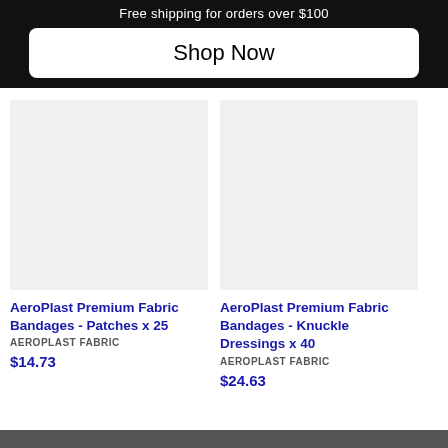Free shipping for orders over $100
Shop Now
[Figure (photo): Product image placeholder for AeroPlast Premium Fabric Bandages - Patches x 25]
AeroPlast Premium Fabric Bandages - Patches x 25
AEROPLAST FABRIC
$14.73
[Figure (photo): Product image placeholder for AeroPlast Premium Fabric Bandages - Knuckle Dressings x 40]
AeroPlast Premium Fabric Bandages - Knuckle Dressings x 40
AEROPLAST FABRIC
$24.63